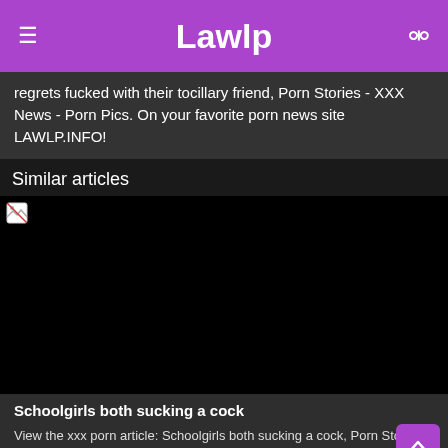Lawlp
regrets fucked with their tocillary friend, Porn Stories - XXX News - Porn Pics. On your favorite porn news site LAWLP.INFO!
Similar articles
[Figure (photo): Black image with broken image icon in top-left corner]
Schoolgirls both sucking a cock
View the xxx porn article: Schoolgirls both sucking a cock, Porn Stories - XXX News - Porn Pics. On your favorite porn news site LAWLP.INFO!